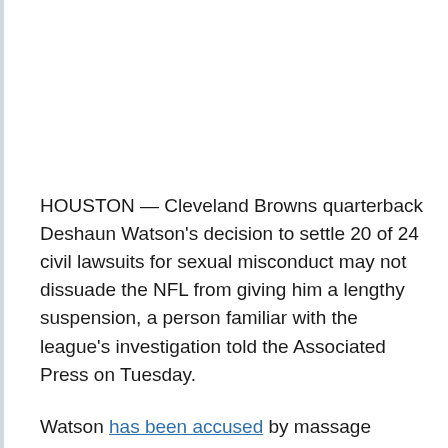HOUSTON — Cleveland Browns quarterback Deshaun Watson's decision to settle 20 of 24 civil lawsuits for sexual misconduct may not dissuade the NFL from giving him a lengthy suspension, a person familiar with the league's investigation told the Associated Press on Tuesday.
Watson has been accused by massage therapists of harassing, assaulting or touching them during appointments when he played for the Houston Texans.